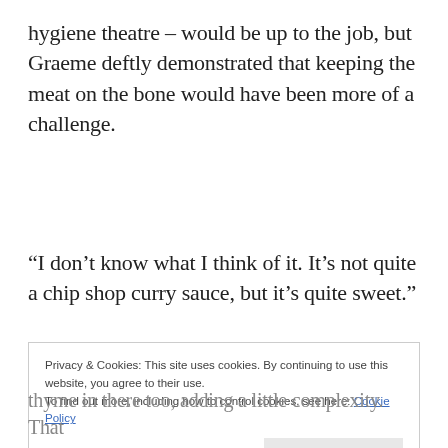hygiene theatre – would be up to the job, but Graeme deftly demonstrated that keeping the meat on the bone would have been more of a challenge.
“I don’t know what I think of it. It’s not quite a chip shop curry sauce, but it’s quite sweet.”
Privacy & Cookies: This site uses cookies. By continuing to use this website, you agree to their use.
To find out more, including how to control cookies, see here: Cookie Policy
[Close and accept]
thyme in there too, adding a little complexity. That